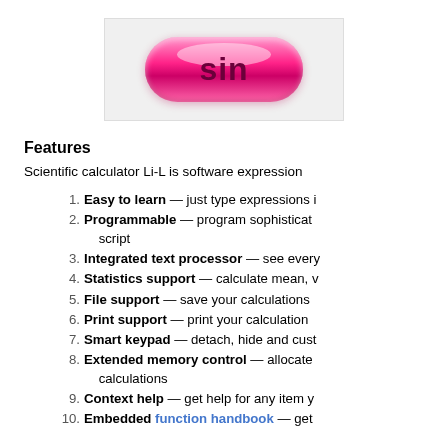[Figure (illustration): A pink pill-shaped button with the text 'sin' in dark pink/maroon bold font, displayed on a light gray background box.]
Features
Scientific calculator Li-L is software expression
Easy to learn — just type expressions i
Programmable — program sophisticat script
Integrated text processor — see every
Statistics support — calculate mean, v
File support — save your calculations
Print support — print your calculation
Smart keypad — detach, hide and cust
Extended memory control — allocate calculations
Context help — get help for any item y
Embedded function handbook — get